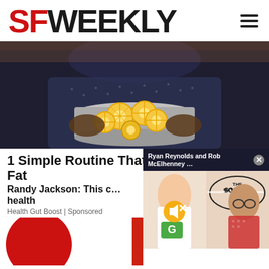SF WEEKLY
[Figure (photo): Person holding a silver pot filled with lemon slices in a kitchen setting]
1 Simple Routine That Melts Away Belly Fat
Randy Jackson: This changed my health
Health Gut Boost | Sponsored
[Figure (screenshot): Video popup overlay: Ryan Reynolds and Rob McElhenney with The Soccer Quiz branding, with a mute button and close X button]